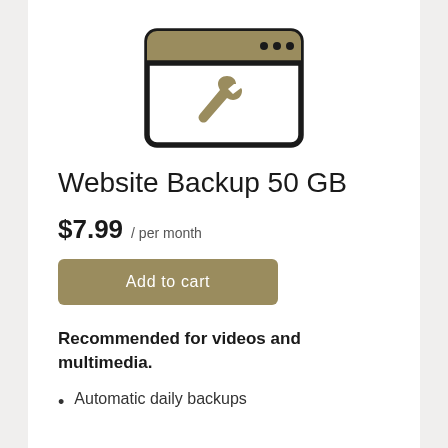[Figure (illustration): Icon of a browser window with a golden/tan header bar containing three dots, and a golden wrench icon in the center of the white content area. Black thick border.]
Website Backup 50 GB
$7.99 / per month
Add to cart
Recommended for videos and multimedia.
Automatic daily backups